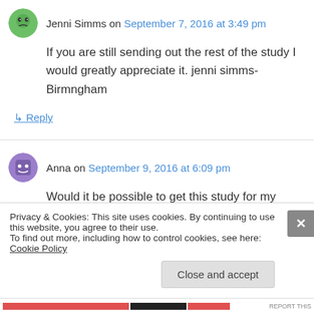Jenni Simms on September 7, 2016 at 3:49 pm
If you are still sending out the rest of the study I would greatly appreciate it. jenni simms-Birmngham
↳ Reply
Anna on September 9, 2016 at 6:09 pm
Would it be possible to get this study for my young people? annafrancis40@gmail.com
Privacy & Cookies: This site uses cookies. By continuing to use this website, you agree to their use.
To find out more, including how to control cookies, see here: Cookie Policy
Close and accept